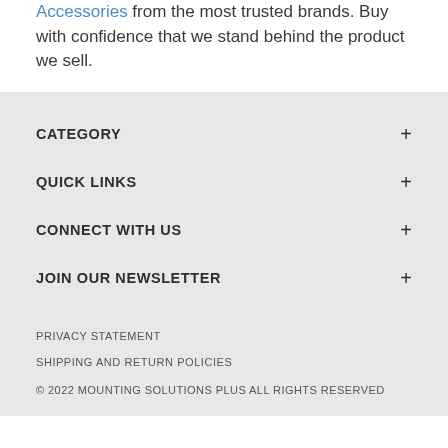Accessories from the most trusted brands. Buy with confidence that we stand behind the product we sell.
CATEGORY +
QUICK LINKS +
CONNECT WITH US +
JOIN OUR NEWSLETTER +
PRIVACY STATEMENT
SHIPPING AND RETURN POLICIES
© 2022 MOUNTING SOLUTIONS PLUS ALL RIGHTS RESERVED